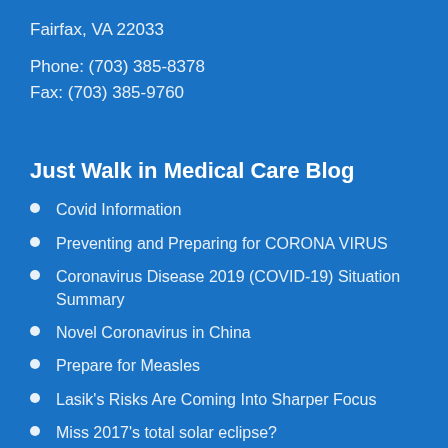Fairfax, VA 22033
Phone: (703) 385-8378
Fax: (703) 385-9760
Just Walk in Medical Care Blog
Covid Information
Preventing and Preparing for CORONA VIRUS
Coronavirus Disease 2019 (COVID-19) Situation Summary
Novel Coronavirus in China
Prepare for Measles
Lasik's Risks Are Coming Into Sharper Focus
Miss 2017's total solar eclipse?